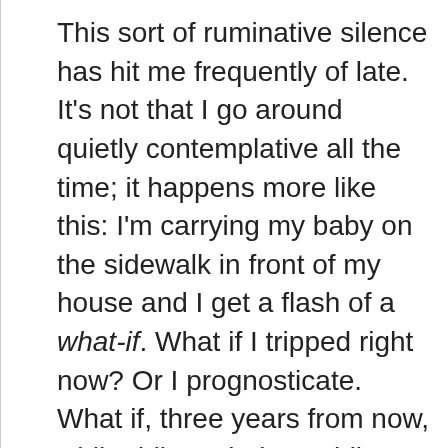This sort of ruminative silence has hit me frequently of late. It's not that I go around quietly contemplative all the time; it happens more like this: I'm carrying my baby on the sidewalk in front of my house and I get a flash of a what-if. What if I tripped right now? Or I prognosticate. What if, three years from now, while riding a balance bike, my daughter drifts into the road in the two-second period when I'm not watching her closely? Or what